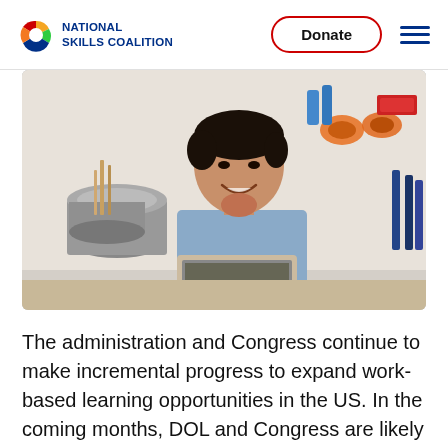NATIONAL SKILLS COALITION | Donate
[Figure (photo): A smiling young man of South Asian descent wearing a light blue shirt, sitting at a desk with a laptop open in front of him, with metal buckets and a hardware store background behind him.]
The administration and Congress continue to make incremental progress to expand work-based learning opportunities in the US. In the coming months, DOL and Congress are likely to take additional steps...